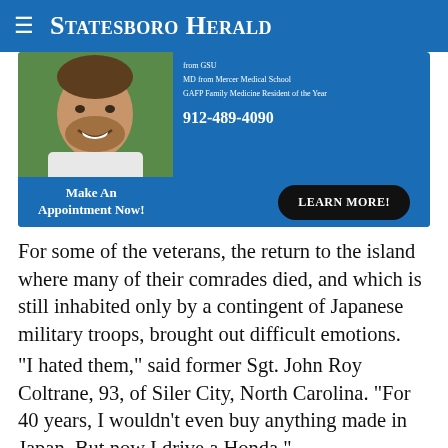≡ Statesboro Herald
[Figure (infographic): Advertisement for a doctor/clinic showing a smiling man's photo on the left, text on the right reading 'from GSU', 'MD from Mercer Medical School', 'GAFP Family Medicine Resident of the Year', '912-489-4090', and buttons 'Make An Appointment Now!' and 'LEARN MORE!']
For some of the veterans, the return to the island where many of their comrades died, and which is still inhabited only by a contingent of Japanese military troops, brought out difficult emotions.
"I hated them," said former Sgt. John Roy Coltrane, 93, of Siler City, North Carolina. "For 40 years, I wouldn't even buy anything made in Japan. But now I drive a Honda."